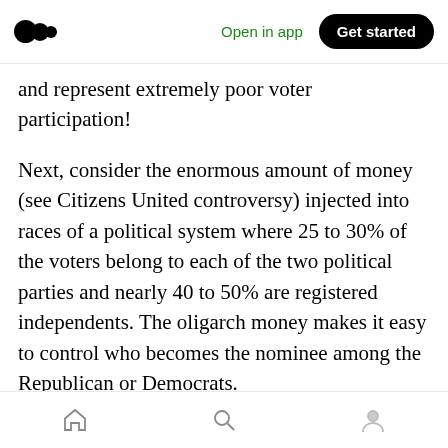Open in app | Get started
and represent extremely poor voter participation!
Next, consider the enormous amount of money (see Citizens United controversy) injected into races of a political system where 25 to 30% of the voters belong to each of the two political parties and nearly 40 to 50% are registered independents. The oligarch money makes it easy to control who becomes the nominee among the Republican or Democrats.
Once each party's oligarch-friendly nominee is settled, Americans then get to choose between a
Home | Search | Profile